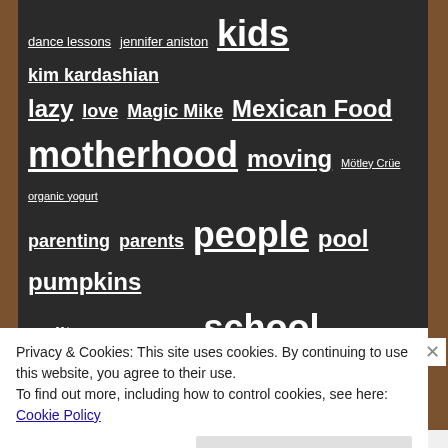[Figure (infographic): Tag cloud on dark background showing various blog/topic tags in different font sizes. Tags include: dance lessons, jennifer aniston, kids (largest), kim kardashian, lazy, love, Magic Mike, Mexican Food, motherhood, moving, Mötley Crüe, organic yogurt, parenting, parents, people, pool, pumpkins, reality, rock, romance, school, school supplies, self help books, shampoo bottles, shopping, sorority girl, spaghetti and meatballs, speech, starbucks coffee, steak tips, stop n shop, stress, summer (very large), tee tree, Tina Fey, two beers, vacation, Valentine's Day, valentine s]
Privacy & Cookies: This site uses cookies. By continuing to use this website, you agree to their use.
To find out more, including how to control cookies, see here: Cookie Policy